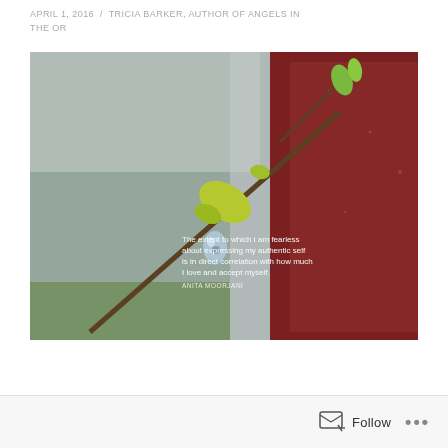APRIL 1, 2016 / TRICIA BARKER, AUTHOR OF ANGELS IN THE OR
[Figure (photo): Close-up photo of a plant branch bud with a water droplet hanging from its tip. Background shows blurred green trees and a red building/barn. An overlaid text quote reads: 'The extent to which I am fearless about expressing my authentic self is in direct correlation with how much I love and accept myself. ANITA MOORJANI']
Follow   ...